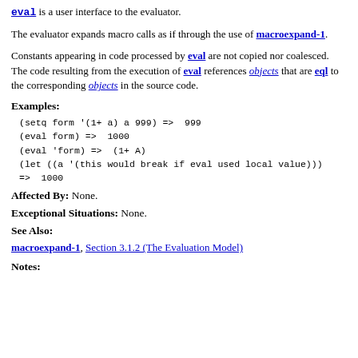eval is a user interface to the evaluator.
The evaluator expands macro calls as if through the use of macroexpand-1.
Constants appearing in code processed by eval are not copied nor coalesced. The code resulting from the execution of eval references objects that are eql to the corresponding objects in the source code.
Examples:
(setq form '(1+ a) a 999) =>  999
(eval form) =>  1000
(eval 'form) =>  (1+ A)
(let ((a '(this would break if eval used local value)))
=>  1000
Affected By:
None.
Exceptional Situations:
None.
See Also:
macroexpand-1, Section 3.1.2 (The Evaluation Model)
Notes: